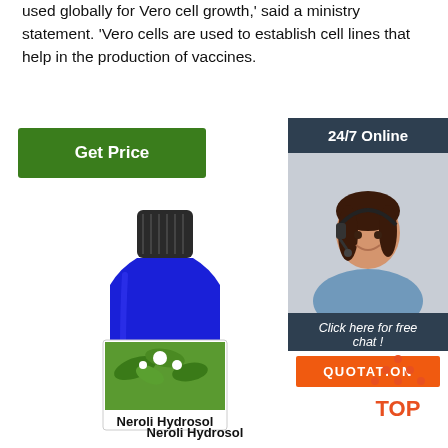used globally for Vero cell growth,' said a ministry statement. 'Vero cells are used to establish cell lines that help in the production of vaccines.
[Figure (other): Green 'Get Price' button]
[Figure (other): Sidebar with 24/7 Online customer service representative, 'Click here for free chat!' text, and orange QUOTATION button]
[Figure (other): Blue glass bottle of Neroli Hydrosol with black cap and label showing green plant/flower image]
Neroli  Hydrosol
[Figure (other): Orange 'TOP' icon with upward arrow dots]